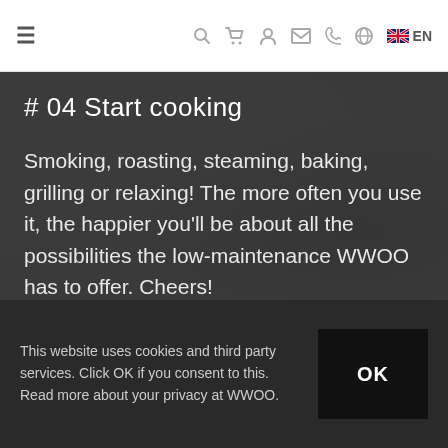≡  🔍  🛒  👤  ✉  📞  🌐  🇬🇧 EN
# 04 Start cooking
Smoking, roasting, steaming, baking, grilling or relaxing! The more often you use it, the happier you'll be about all the possibilities the low-maintenance WWOO has to offer. Cheers!
This website uses cookies and third party services. Click OK if you consent to this. Read more about your privacy at WWOO.